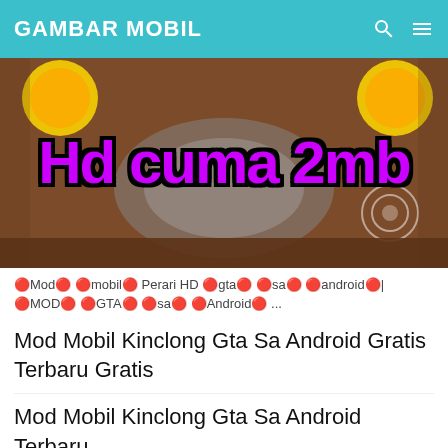GAMBAR MOBIL
[Figure (photo): Banner image with text 'Hd cuma 2mb' in purple bold font over a GTA game screenshot background]
🔴Mod🔴 🔴mobil🔴 Perari HD 🔴gta🔴 🔴sa🔴 🔴android🔴|🔴MOD🔴 🔴GTA🔴 🔴sa🔴 🔴Android🔴 ...
Mod Mobil Kinclong Gta Sa Android Gratis Terbaru Gratis
Mod Mobil Kinclong Gta Sa Android Terbaru
Mod Mobil Kinclong Gta Sa Android Gratis Terbaik
Mod Mobil Kinclong Gta Sa Android HD Terbaik